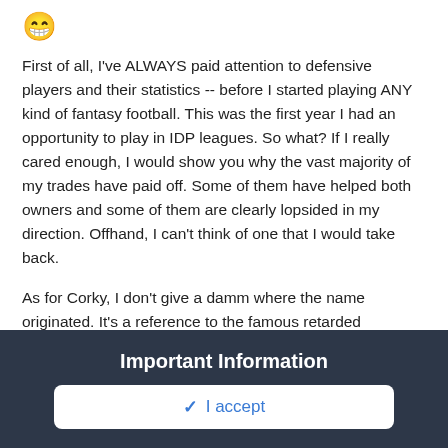[Figure (illustration): Grinning smiley face emoji]
First of all, I've ALWAYS paid attention to defensive players and their statistics -- before I started playing ANY kind of fantasy football. This was the first year I had an opportunity to play in IDP leagues. So what? If I really cared enough, I would show you why the vast majority of my trades have paid off. Some of them have helped both owners and some of them are clearly lopsided in my direction. Offhand, I can't think of one that I would take back.
As for Corky, I don't give a damm where the name originated. It's a reference to the famous retarded character of all time. Corky = mentally challenged. You = mentally challenged. Corky = mindless entertainment. You = mindless entertainment. Understand, Corky?
Important Information
✓ I accept